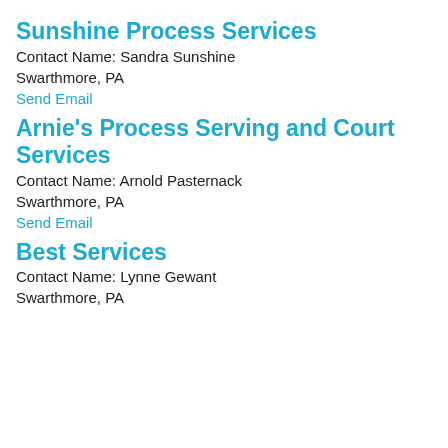Sunshine Process Services
Contact Name: Sandra Sunshine
Swarthmore, PA
Send Email
Arnie's Process Serving and Court Services
Contact Name: Arnold Pasternack
Swarthmore, PA
Send Email
Best Services
Contact Name: Lynne Gewant
Swarthmore, PA